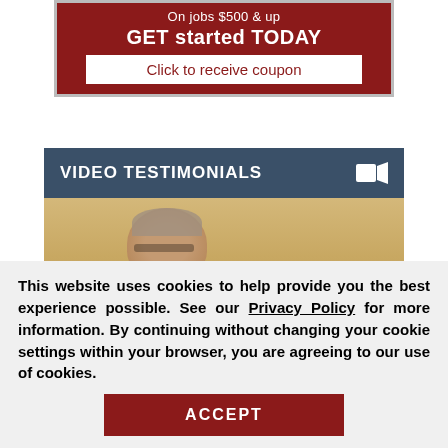[Figure (infographic): Red coupon banner with text 'On jobs $500 & up GET started TODAY' and a white button 'Click to receive coupon']
VIDEO TESTIMONIALS
[Figure (photo): Video thumbnail showing a blurred man's face with a 'Request a Free' badge overlay in the bottom right]
This website uses cookies to help provide you the best experience possible. See our Privacy Policy for more information. By continuing without changing your cookie settings within your browser, you are agreeing to our use of cookies.
ACCEPT